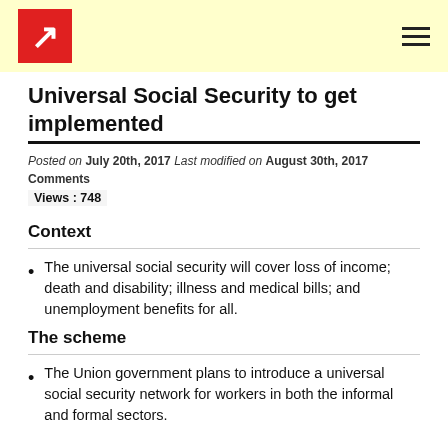Logo and navigation header
Universal Social Security to get implemented
Posted on July 20th, 2017 Last modified on August 30th, 2017 Comments Views : 748
Context
The universal social security will cover loss of income; death and disability; illness and medical bills; and unemployment benefits for all.
The scheme
The Union government plans to introduce a universal social security network for workers in both the informal and formal sectors.